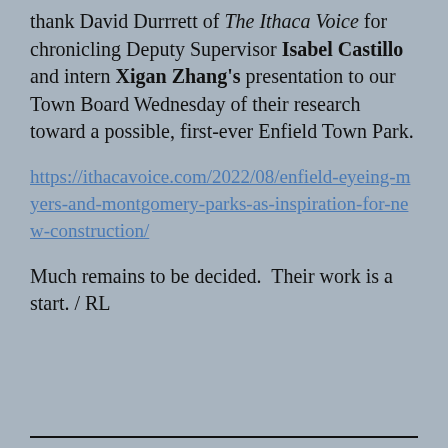thank David Durrrett of The Ithaca Voice for chronicling Deputy Supervisor Isabel Castillo and intern Xigan Zhang's presentation to our Town Board Wednesday of their research toward a possible, first-ever Enfield Town Park.
https://ithacavoice.com/2022/08/enfield-eyeing-myers-and-montgomery-parks-as-inspiration-for-new-construction/
Much remains to be decided.  Their work is a start. / RL